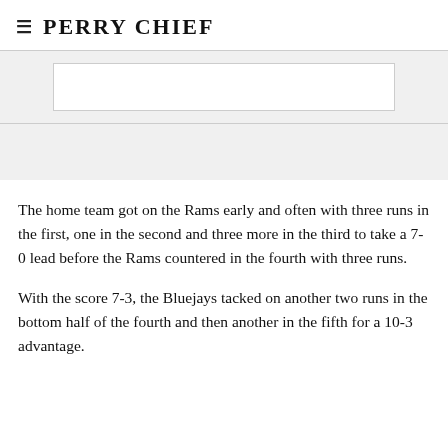PERRY CHIEF
[Figure (other): Placeholder image area with white rectangle on gray background]
The home team got on the Rams early and often with three runs in the first, one in the second and three more in the third to take a 7-0 lead before the Rams countered in the fourth with three runs.
With the score 7-3, the Bluejays tacked on another two runs in the bottom half of the fourth and then another in the fifth for a 10-3 advantage.